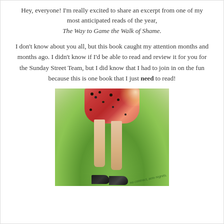Hey, everyone! I'm really excited to share an excerpt from one of my most anticipated reads of the year, The Way to Game the Walk of Shame.
I don't know about you all, but this book caught my attention months and months ago. I didn't know if I'd be able to read and review it for you for the Sunday Street Team, but I did know that I had to join in on the fun because this is one book that I just need to read!
[Figure (photo): Photo of woman's legs wearing a pink/red floral dress and black high heels, standing on grass outdoors with blurred green background. Text visible at bottom right: 'no contract, zero regrets.']